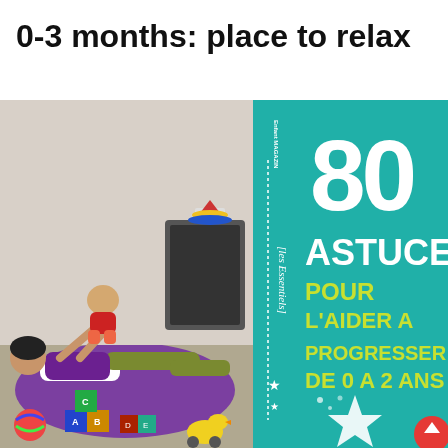0-3 months: place to relax
[Figure (illustration): Two-panel illustration: left panel shows a cartoon mother lying on a purple couch/floor lifting a baby in the air, with toys (blocks, ball, duck) around them in a living room with a window and bamboo plant; right panel shows the spine and cover of a book titled '80 ASTUCES POUR L'AIDER A PROGRESSER DE 0 A 2 ANS' from les Essentiels Enfant Magazine, with teal/green background and yellow text.]